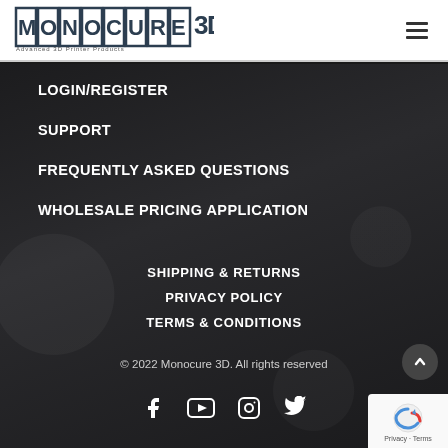[Figure (logo): Monocure 3D logo — Advanced 3D Printer Products]
LOGIN/REGISTER
SUPPORT
FREQUENTLY ASKED QUESTIONS
WHOLESALE PRICING APPLICATION
SHIPPING & RETURNS
PRIVACY POLICY
TERMS & CONDITIONS
© 2022 Monocure 3D. All rights reserved
[Figure (other): Social media icons: Facebook, YouTube, Instagram, Twitter]